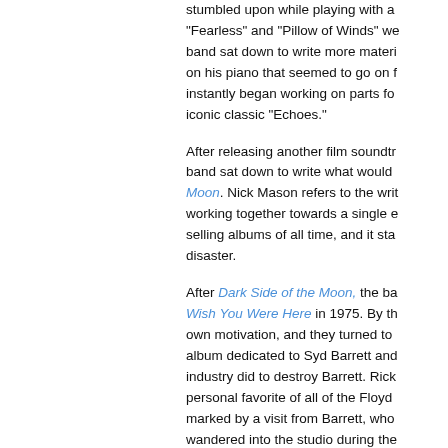stumbled upon while playing with a... "Fearless" and "Pillow of Winds" we... band sat down to write more materi... on his piano that seemed to go on f... instantly began working on parts fo... iconic classic "Echoes."
After releasing another film soundtr... band sat down to write what would ... Dark Side of the Moon. Nick Mason refers to the writ... working together towards a single e... selling albums of all time, and it sta... disaster.
After Dark Side of the Moon, the ba... Wish You Were Here in 1975. By th... own motivation, and they turned to ... album dedicated to Syd Barrett and... industry did to destroy Barrett. Rick... personal favorite of all of the Floyd ... marked by a visit from Barrett, who ... wandered into the studio during the ... Diamond" and announced that he w... attended David Gilmour's wedding ... that night, and the band never saw